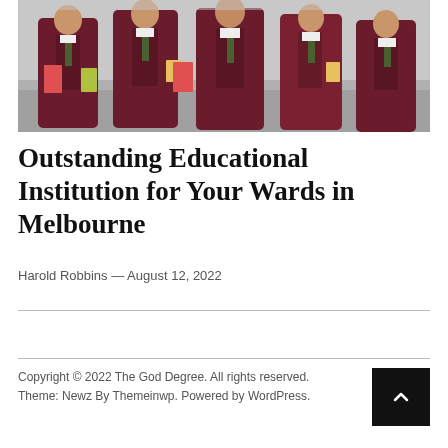[Figure (photo): Group of school students in dark maroon/burgundy blazers with ties, carrying notebooks and folders, walking together]
Outstanding Educational Institution for Your Wards in Melbourne
Harold Robbins — August 12, 2022
Copyright © 2022 The God Degree. All rights reserved. Theme: Newz By Themeinwp. Powered by WordPress.